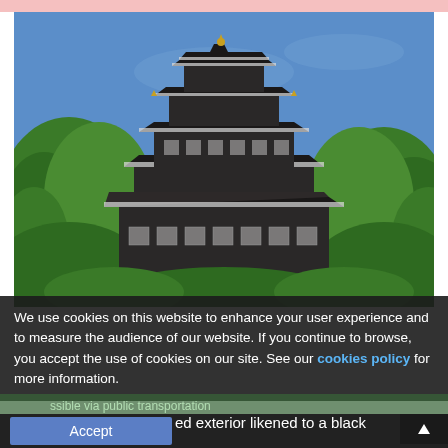[Figure (photo): Photograph of a Japanese castle (Okayama Castle) with dark exterior walls and multi-tiered pagoda rooflines, surrounded by lush green trees against a blue sky.]
We use cookies on this website to enhance your user experience and to measure the audience of our website. If you continue to browse, you accept the use of cookies on our site. See our cookies policy for more information.
ssible via public transportation
The black painted exterior likened to a black
[Figure (other): Accept button (blue rectangle) and triangle/arrow icon]